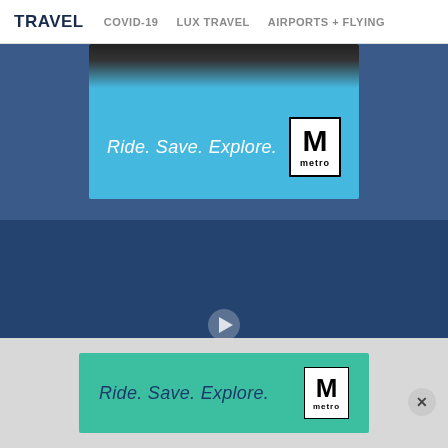TRAVEL  COVID-19  LUX TRAVEL  AIRPORTS + FLYING
[Figure (screenshot): Metro advertisement banner with light blue background showing a train at top, text 'Ride. Save. Explore.' in white italic, and Metro logo (M in square with 'metro' label)]
[Figure (screenshot): Video overlay area with semi-transparent dark blue background showing a blurred interior scene and a play button circle in the center, with an X close button in the bottom right corner]
[Figure (screenshot): Metro advertisement banner with teal/green background showing text 'Ride. Save. Explore.' in dark blue italic and Metro logo (M in square with 'metro' label)]